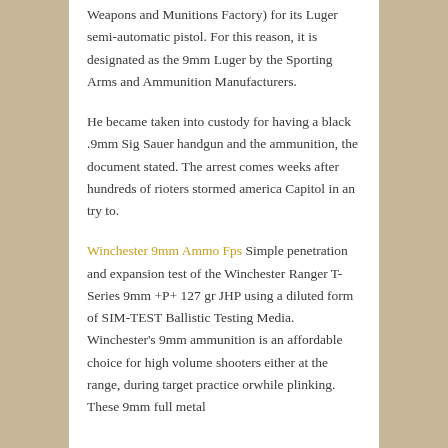Weapons and Munitions Factory) for its Luger semi-automatic pistol. For this reason, it is designated as the 9mm Luger by the Sporting Arms and Ammunition Manufacturers.
He became taken into custody for having a black .9mm Sig Sauer handgun and the ammunition, the document stated. The arrest comes weeks after hundreds of rioters stormed america Capitol in an try to.
Winchester 9mm Ammo Fps Simple penetration and expansion test of the Winchester Ranger T-Series 9mm +P+ 127 gr JHP using a diluted form of SIM-TEST Ballistic Testing Media. Winchester's 9mm ammunition is an affordable choice for high volume shooters either at the range, during target practice orwhile plinking. These 9mm full metal